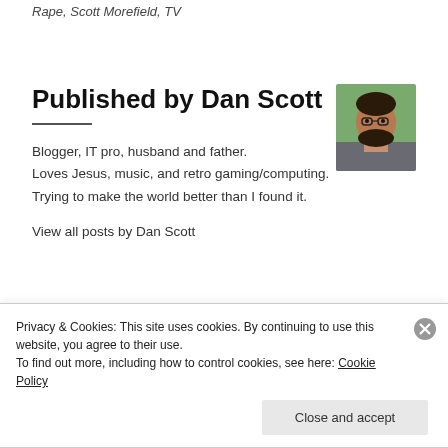Rape, Scott Morefield, TV
Published by Dan Scott
[Figure (photo): Headshot photo of Dan Scott, a bearded man with glasses outdoors]
Blogger, IT pro, husband and father.
Loves Jesus, music, and retro gaming/computing.
Trying to make the world better than I found it.
View all posts by Dan Scott
Privacy & Cookies: This site uses cookies. By continuing to use this website, you agree to their use.
To find out more, including how to control cookies, see here: Cookie Policy